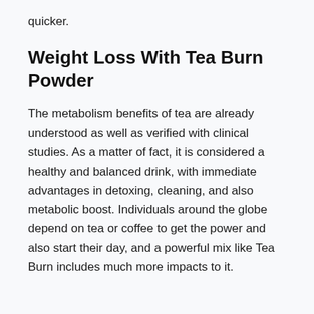quicker.
Weight Loss With Tea Burn Powder
The metabolism benefits of tea are already understood as well as verified with clinical studies. As a matter of fact, it is considered a healthy and balanced drink, with immediate advantages in detoxing, cleaning, and also metabolic boost. Individuals around the globe depend on tea or coffee to get the power and also start their day, and a powerful mix like Tea Burn includes much more impacts to it.